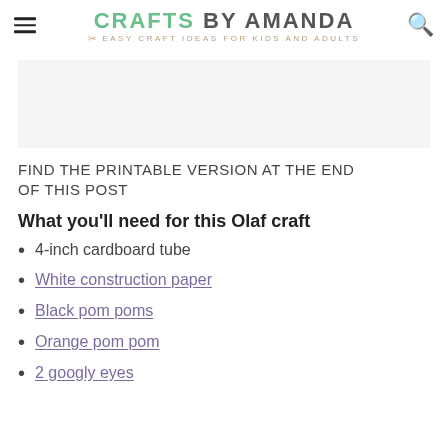CRAFTS BY AMANDA — Easy Craft Ideas for Kids and Adults
[Figure (other): Light gray advertisement placeholder rectangle]
FIND THE PRINTABLE VERSION AT THE END OF THIS POST
What you'll need for this Olaf craft
4-inch cardboard tube
White construction paper
Black pom poms
Orange pom pom
2 googly eyes